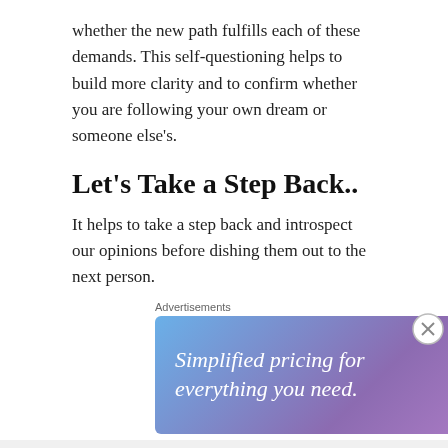whether the new path fulfills each of these demands. This self-questioning helps to build more clarity and to confirm whether you are following your own dream or someone else's.
Let's Take a Step Back..
It helps to take a step back and introspect our opinions before dishing them out to the next person.
Advertisements
[Figure (other): Advertisement banner: 'Simplified pricing for everything you need.' on a blue-purple gradient background]
Advertisements
[Figure (other): Jetpack advertisement: logo with lightning bolt icon, 'Jetpack' name, and 'Back up your site' button on green background]